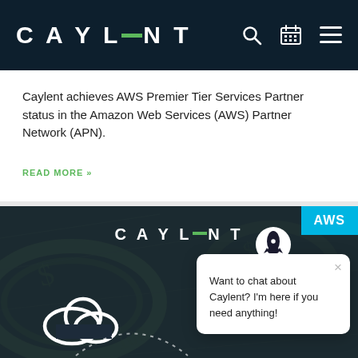CAYLENT
Caylent achieves AWS Premier Tier Services Partner status in the Amazon Web Services (AWS) Partner Network (APN).
READ MORE »
[Figure (screenshot): Caylent dark-themed promotional image for AWS Cloud Security – Best Practices for Financial Services, with a chat popup overlay saying 'Want to chat about Caylent? I'm here if you need anything!' and an AWS badge in the top-right corner.]